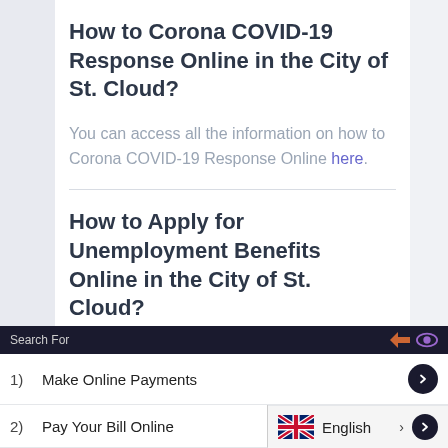How to Corona COVID-19 Response Online in the City of St. Cloud?
You can access all the information on how to Corona COVID-19 Response Online here.
How to Apply for Unemployment Benefits Online in the City of St. Cloud?
You can access all the information on
Search For
1)   Make Online Payments
2)   Pay Your Bill Online
English